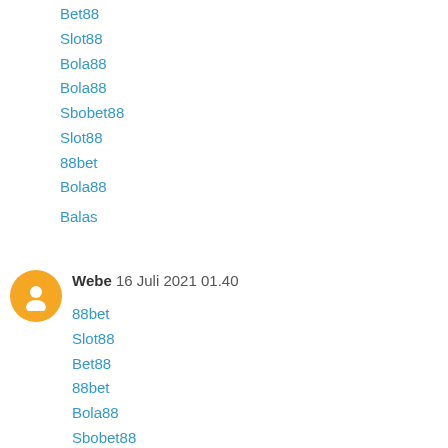Bet88
Slot88
Bola88
Bola88
Sbobet88
Slot88
88bet
Bola88
Balas
Webe  16 Juli 2021 01.40
88bet
Slot88
Bet88
88bet
Bola88
Sbobet88
Slot88
Bet88
Ninja368